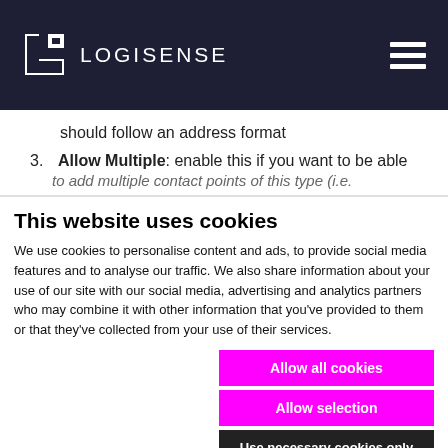LOGISENSE
should follow an address format
3. Allow Multiple: enable this if you want to be able to add multiple contact points of this type (i.e.
This website uses cookies
We use cookies to personalise content and ads, to provide social media features and to analyse our traffic. We also share information about your use of our site with our social media, advertising and analytics partners who may combine it with other information that you've provided to them or that they've collected from your use of their services.
Allow all cookies
Allow selection
Use necessary cookies only
Necessary  Preferences  Statistics  Marketing  Show details